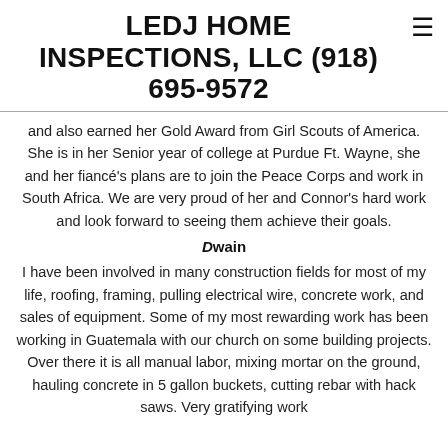LEDJ HOME INSPECTIONS, LLC (918) 695-9572
and also earned her Gold Award from Girl Scouts of America. She is in her Senior year of college at Purdue Ft. Wayne, she and her fiancé's plans are to join the Peace Corps and work in South Africa. We are very proud of her and Connor's hard work and look forward to seeing them achieve their goals.
Dwain
I have been involved in many construction fields for most of my life, roofing, framing, pulling electrical wire, concrete work, and sales of equipment. Some of my most rewarding work has been working in Guatemala with our church on some building projects. Over there it is all manual labor, mixing mortar on the ground, hauling concrete in 5 gallon buckets, cutting rebar with hack saws. Very gratifying work